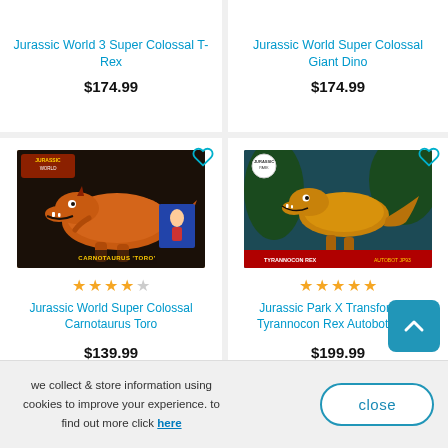Jurassic World 3 Super Colossal T-Rex
$174.99
Jurassic World Super Colossal Giant Dino
$174.99
[Figure (photo): Jurassic World Super Colossal Carnotaurus Toro toy product box image showing an orange Carnotaurus dinosaur]
★★★★☆
Jurassic World Super Colossal Carnotaurus Toro
$139.99
[Figure (photo): Jurassic Park X Transformers Tyrannocon Rex Autobot JP93 toy product box image]
★★★★★
Jurassic Park X Transformers Tyrannocon Rex Autobot JP93
$199.99
we collect & store information using cookies to improve your experience. to find out more click here